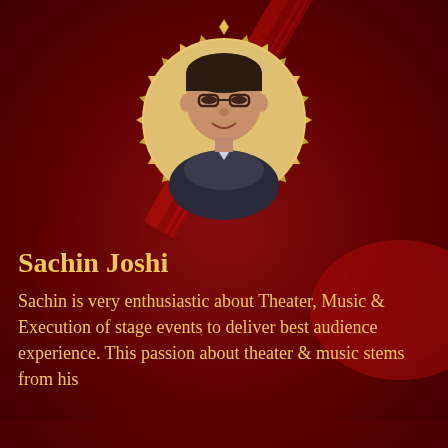[Figure (photo): Circular profile photo of Sachin Joshi with gold decorative diamond border, on a dark red background with guitar and music silhouette imagery]
Sachin Joshi
Sachin is very enthusiastic about Theater, Music & Execution of stage events to deliver best audience experience. This passion about theater & music stems from his